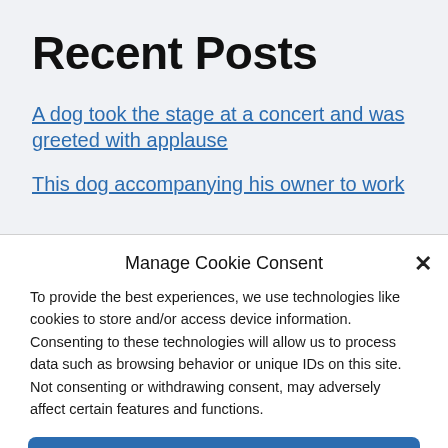Recent Posts
A dog took the stage at a concert and was greeted with applause
This dog accompanying his owner to work
Manage Cookie Consent
To provide the best experiences, we use technologies like cookies to store and/or access device information. Consenting to these technologies will allow us to process data such as browsing behavior or unique IDs on this site. Not consenting or withdrawing consent, may adversely affect certain features and functions.
Accept
Cookie Policy